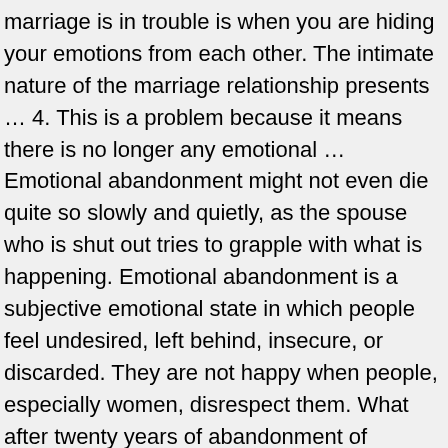marriage is in trouble is when you are hiding your emotions from each other. The intimate nature of the marriage relationship presents … 4. This is a problem because it means there is no longer any emotional … Emotional abandonment might not even die quite so slowly and quietly, as the spouse who is shut out tries to grapple with what is happening. Emotional abandonment is a subjective emotional state in which people feel undesired, left behind, insecure, or discarded. They are not happy when people, especially women, disrespect them. What after twenty years of abandonment of marriage is the … Marriage is a contract, one you enter into expecting to get your needs met during the good times and bad. Emotional Abandonment By Husband: How To Deal With Emotional Abandonment In Marriage. I can be having the best day and suddenly be triggered by the smallest thing that will take me back to that dark time and I feel the pain and the shame all over again. The Emotional Turmoil Abandonment May Bring In addition to the financial and legal issues you'll work through in abandonment, there is also a difficult emotional element to deal